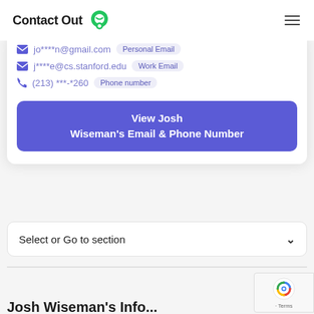ContactOut
jo****n@gmail.com  Personal Email
j****e@cs.stanford.edu  Work Email
(213) ***-*260  Phone number
View Josh Wiseman's Email & Phone Number
Select or Go to section
[Figure (logo): reCAPTCHA badge with Google logo, Terms text]
Josh Wiseman's...